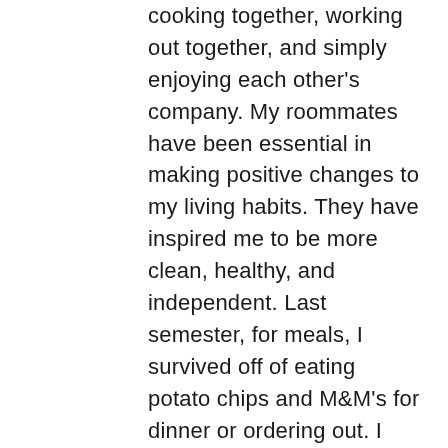cooking together, working out together, and simply enjoying each other's company. My roommates have been essential in making positive changes to my living habits. They have inspired me to be more clean, healthy, and independent. Last semester, for meals, I survived off of eating potato chips and M&M's for dinner or ordering out. I was too lazy to cook for myself and whenever I went food shopping, I never knew what to buy. Seeing my roommates cook nutritious dishes for themselves every night inspired me to buy similar groceries or recreate my mother's dishes. As an apartment, we love cooking Shabbat dinners together and having a proper Shabbat. My roommate Carly never fails to bake a delicious challah and we all contribute to the meal. Even on nights when we cook individual meals, we